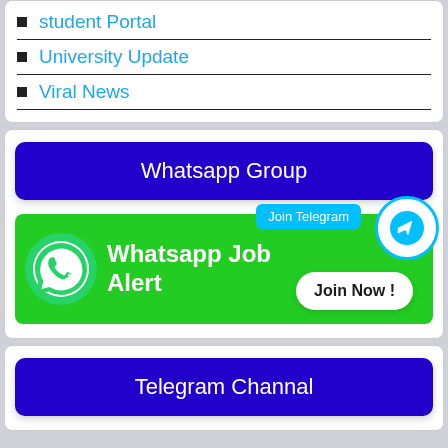student Portal
University Update
Viral News
[Figure (infographic): Blue button labeled 'Whatsapp Group']
[Figure (infographic): Green WhatsApp Job Alert banner with WhatsApp icon, 'Join Telegram' pill, Telegram circle icon, and 'Join Now!' button]
[Figure (infographic): Blue button labeled 'Telegram Channal']